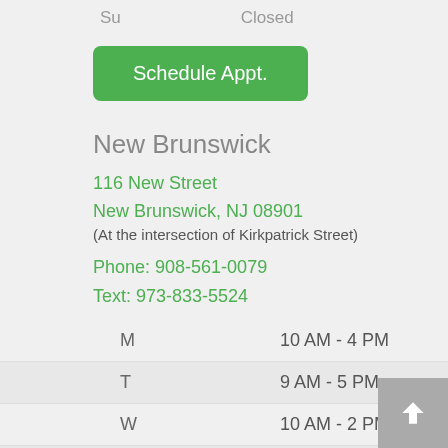Su    Closed
Schedule Appt.
New Brunswick
116 New Street
New Brunswick, NJ 08901
(At the intersection of Kirkpatrick Street)
Phone: 908-561-0079
Text: 973-833-5524
| Day | Hours |
| --- | --- |
| M | 10 AM - 4 PM |
| T | 9 AM - 5 PM |
| W | 10 AM - 2 PM |
| Th | 9 AM - 5 PM |